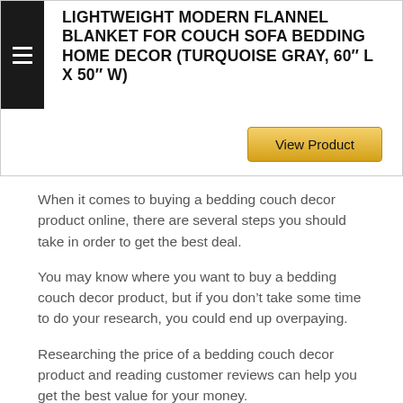LIGHTWEIGHT MODERN FLANNEL BLANKET FOR COUCH SOFA BEDDING HOME DECOR (TURQUOISE GRAY, 60″ L X 50″ W)
[Figure (screenshot): View Product button with golden/yellow gradient background]
When it comes to buying a bedding couch decor product online, there are several steps you should take in order to get the best deal.
You may know where you want to buy a bedding couch decor product, but if you don’t take some time to do your research, you could end up overpaying.
Researching the price of a bedding couch decor product and reading customer reviews can help you get the best value for your money.